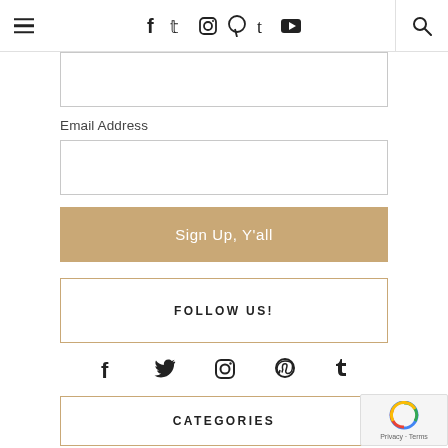Navigation bar with hamburger menu, social icons (f, t, instagram, pinterest, tumblr, youtube), and search icon
[Figure (screenshot): Partial email/name input box at top, cut off]
Email Address
[Figure (screenshot): Empty email address input field]
Sign Up, Y'all
FOLLOW US!
[Figure (screenshot): Row of social icons: facebook, twitter, instagram, pinterest, tumblr]
CATEGORIES